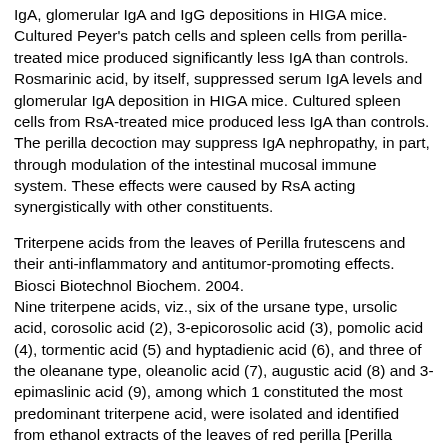IgA, glomerular IgA and IgG depositions in HIGA mice. Cultured Peyer's patch cells and spleen cells from perilla-treated mice produced significantly less IgA than controls. Rosmarinic acid, by itself, suppressed serum IgA levels and glomerular IgA deposition in HIGA mice. Cultured spleen cells from RsA-treated mice produced less IgA than controls. The perilla decoction may suppress IgA nephropathy, in part, through modulation of the intestinal mucosal immune system. These effects were caused by RsA acting synergistically with other constituents.
Triterpene acids from the leaves of Perilla frutescens and their anti-inflammatory and antitumor-promoting effects. Biosci Biotechnol Biochem. 2004. Nine triterpene acids, viz., six of the ursane type, ursolic acid, corosolic acid (2), 3-epicorosolic acid (3), pomolic acid (4), tormentic acid (5) and hyptadienic acid (6), and three of the oleanane type, oleanolic acid (7), augustic acid (8) and 3-epimaslinic acid (9), among which 1 constituted the most predominant triterpene acid, were isolated and identified from ethanol extracts of the leaves of red perilla [Perilla frutescens (L.) Britton var. acuta Kudo] and green perilla [P. frutescens Britton var. acuta Kudo forma viridis Makino]. These eight compounds, 1, 2, 4-9, were evaluated for their inhibitory effects on 12-O-tetradecanoylphorbol-13-acetate